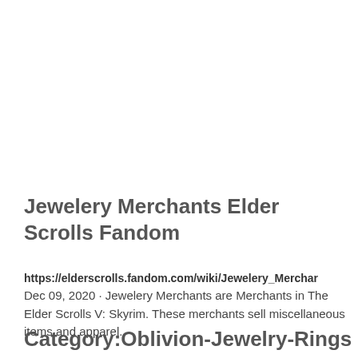Jewelery Merchants Elder Scrolls Fandom
https://elderscrolls.fandom.com/wiki/Jewelery_Merchar
Dec 09, 2020 · Jewelery Merchants are Merchants in The Elder Scrolls V: Skyrim. These merchants sell miscellaneous items and apparel.
Category:Oblivion-Jewelry-Rings -